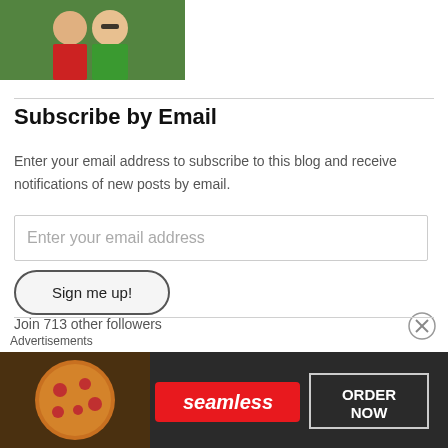[Figure (photo): Two people posing outdoors, one in red shirt and one in green shirt, with greenery in background]
Subscribe by Email
Enter your email address to subscribe to this blog and receive notifications of new posts by email.
Enter your email address
Sign me up!
Join 713 other followers
Advertisements
[Figure (photo): Seamless food delivery advertisement banner showing pizza with Seamless logo and ORDER NOW button]